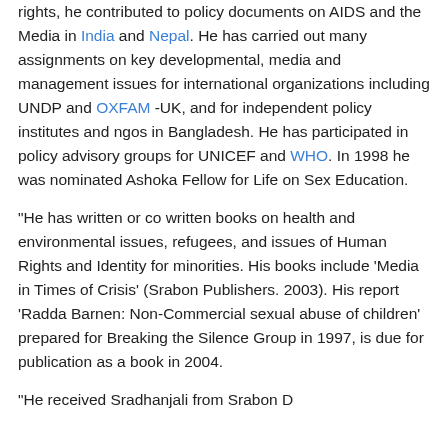rights, he contributed to policy documents on AIDS and the Media in India and Nepal. He has carried out many assignments on key developmental, media and management issues for international organizations including UNDP and OXFAM -UK, and for independent policy institutes and ngos in Bangladesh. He has participated in policy advisory groups for UNICEF and WHO. In 1998 he was nominated Ashoka Fellow for Life on Sex Education.
"He has written or co written books on health and environmental issues, refugees, and issues of Human Rights and Identity for minorities. His books include 'Media in Times of Crisis' (Srabon Publishers. 2003). His report 'Radda Barnen: Non-Commercial sexual abuse of children' prepared for Breaking the Silence Group in 1997, is due for publication as a book in 2004.
"He received Sradhanjali from Srabon D...